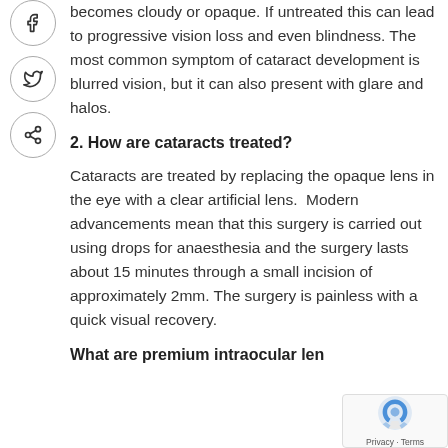becomes cloudy or opaque. If untreated this can lead to progressive vision loss and even blindness. The most common symptom of cataract development is blurred vision, but it can also present with glare and halos.
2. How are cataracts treated?
Cataracts are treated by replacing the opaque lens in the eye with a clear artificial lens.  Modern advancements mean that this surgery is carried out using drops for anaesthesia and the surgery lasts about 15 minutes through a small incision of approximately 2mm. The surgery is painless with a quick visual recovery.
What are premium intraocular len